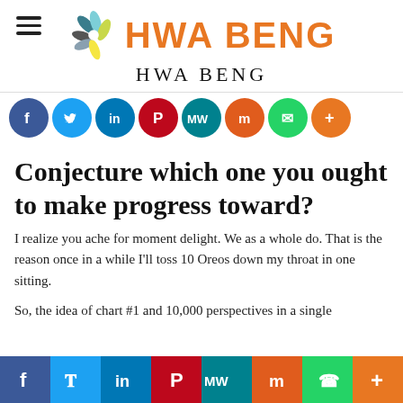HWA BENG
[Figure (logo): HWA BENG logo with colorful pinwheel/flower SVG icon and orange bold text 'HWA BENG']
HWA BENG
[Figure (infographic): Row of circular social media share buttons: Facebook (blue), Twitter (light blue), LinkedIn (dark blue), Pinterest (red), MeWe (teal), Mix (orange), WhatsApp (green), More/Plus (orange)]
Conjecture which one you ought to make progress toward?
I realize you ache for moment delight. We as a whole do. That is the reason once in a while I'll toss 10 Oreos down my throat in one sitting.
So, the idea of chart #1 and 10,000 perspectives in a single
[Figure (infographic): Bottom bar with flat social media icons: Facebook, Twitter, LinkedIn, Pinterest, MeWe, Mix, WhatsApp, More/Plus]